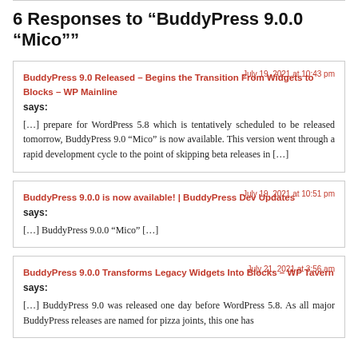6 Responses to “BuddyPress 9.0.0 “Mico””
BuddyPress 9.0 Released – Begins the Transition From Widgets to Blocks – WP Mainline
July 19, 2021 at 10:43 pm
says:
[...] prepare for WordPress 5.8 which is tentatively scheduled to be released tomorrow, BuddyPress 9.0 “Mico” is now available. This version went through a rapid development cycle to the point of skipping beta releases in [...]
BuddyPress 9.0.0 is now available! | BuddyPress Dev Updates
July 19, 2021 at 10:51 pm
says:
[...] BuddyPress 9.0.0 “Mico” [...]
BuddyPress 9.0.0 Transforms Legacy Widgets Into Blocks – WP Tavern
July 21, 2021 at 3:56 am
says:
[...] BuddyPress 9.0 was released one day before WordPress 5.8. As all major BuddyPress releases are named for pizza joints, this one has